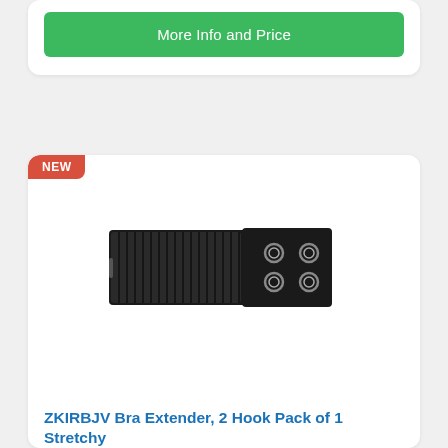More Info and Price
[Figure (photo): Black bra extender with 2 hooks, Pack of 1, stretchy fabric]
ZKIRBJV Bra Extender, 2 Hook Pack of 1 Stretchy